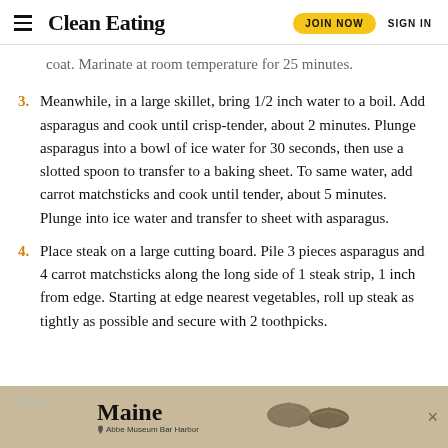Clean Eating | JOIN NOW | SIGN IN
coat. Marinate at room temperature for 25 minutes.
3. Meanwhile, in a large skillet, bring 1/2 inch water to a boil. Add asparagus and cook until crisp-tender, about 2 minutes. Plunge asparagus into a bowl of ice water for 30 seconds, then use a slotted spoon to transfer to a baking sheet. To same water, add carrot matchsticks and cook until tender, about 5 minutes. Plunge into ice water and transfer to sheet with asparagus.
4. Place steak on a large cutting board. Pile 3 pieces asparagus and 4 carrot matchsticks along the long side of 1 steak strip, 1 inch from edge. Starting at edge nearest vegetables, roll up steak as tightly as possible and secure with 2 toothpicks.
[Figure (photo): Advertisement banner for Maine - Abbe Museum Bar Harbor, showing two stone arrowhead artifacts on a tan/beige background with the text 'Maine' and 'Abbe Museum Bar Harbor' with a location pin icon.]